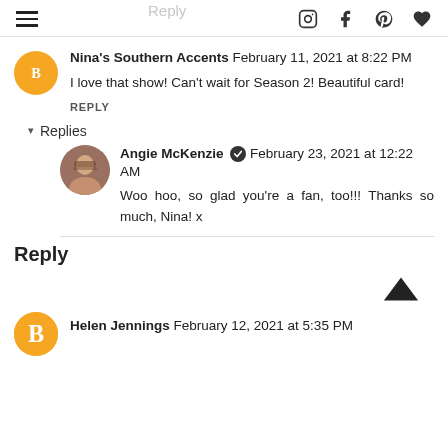Reply [watermark] | navigation icons: instagram, facebook, pinterest, heart
Nina's Southern Accents February 11, 2021 at 8:22 PM
I love that show! Can't wait for Season 2! Beautiful card!
REPLY
▾ Replies
Angie McKenzie ✔ February 23, 2021 at 12:22 AM
Woo hoo, so glad you're a fan, too!!! Thanks so much, Nina! x
Reply
Helen Jennings February 12, 2021 at 5:35 PM